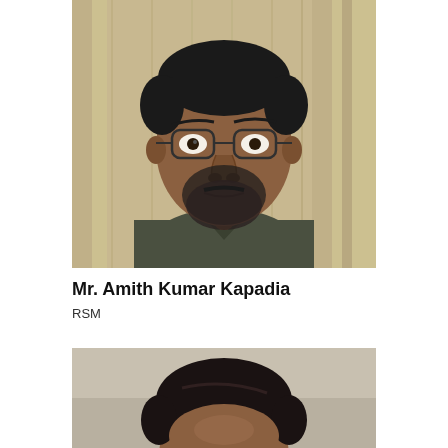[Figure (photo): Portrait photo of Mr. Amith Kumar Kapadia, a man with glasses and a beard wearing a dark olive/grey shirt, photographed against a curtain background]
Mr. Amith Kumar Kapadia
RSM
[Figure (photo): Partial portrait photo of a second person, cropped showing only the top of the head and forehead area]